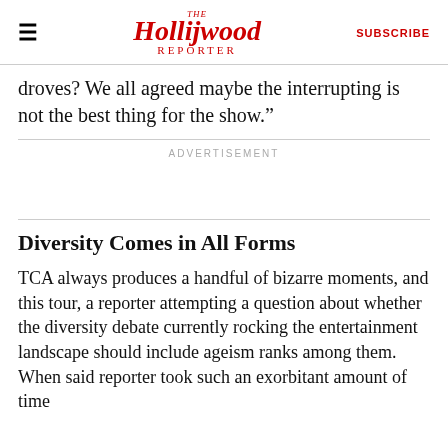The Hollywood Reporter | SUBSCRIBE
droves? We all agreed maybe the interrupting is not the best thing for the show.”
ADVERTISEMENT
Diversity Comes in All Forms
TCA always produces a handful of bizarre moments, and this tour, a reporter attempting a question about whether the diversity debate currently rocking the entertainment landscape should include ageism ranks among them. When said reporter took such an exorbitant amount of time